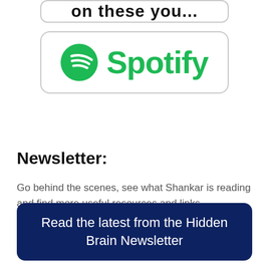[Figure (logo): Partial button at top, cropped, showing dark bold text partially visible]
[Figure (logo): Spotify logo button with green Spotify icon and green Spotify text, in a rounded rectangle border]
Newsletter:
Go behind the scenes, see what Shankar is reading and find more useful resources and links.
Read the latest from the Hidden Brain Newsletter